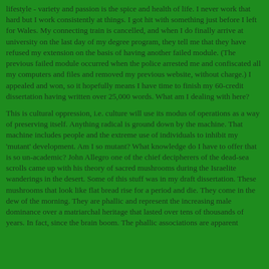lifestyle - variety and passion is the spice and health of life. I never work that hard but I work consistently at things. I got hit with something just before I left for Wales. My connecting train is cancelled, and when I do finally arrive at university on the last day of my degree program, they tell me that they have refused my extension on the basis of having another failed module. (The previous failed module occurred when the police arrested me and confiscated all my computers and files and removed my previous website, without charge.) I appealed and won, so it hopefully means I have time to finish my 60-credit dissertation having written over 25,000 words. What am I dealing with here?
This is cultural oppression, i.e. culture will use its modus of operations as a way of preserving itself. Anything radical is ground down by the machine. That machine includes people and the extreme use of individuals to inhibit my 'mutant' development. Am I so mutant? What knowledge do I have to offer that is so un-academic? John Allegro one of the chief decipherers of the dead-sea scrolls came up with his theory of sacred mushrooms during the Israelite wanderings in the desert. Some of this stuff was in my draft dissertation. These mushrooms that look like flat bread rise for a period and die. They come in the dew of the morning. They are phallic and represent the increasing male dominance over a matriarchal heritage that lasted over tens of thousands of years. In fact, since the brain boom. The phallic associations are apparent